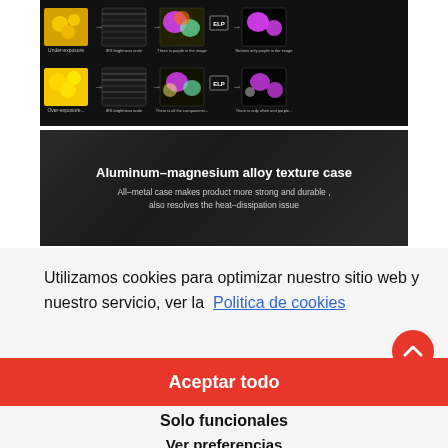[Figure (schematic): Diagram showing image processing pipeline for under-exposure and over-exposure correction using brightness/darkness adjustments and ELP processing, showing sunflower images before and after processing with color segmentation results.]
[Figure (photo): Dark promotional graphic with text: 'Aluminum–magnesium alloy texture case' and subtitle 'All-metal case makes product more strong and durable, also resolves the heat-dissipation issue']
Utilizamos cookies para optimizar nuestro sitio web y nuestro servicio, ver la Politica de cookies
Aceptar todo
Solo funcionales
Ver preferencias